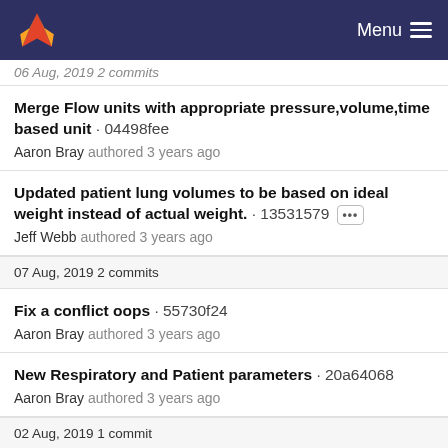Menu
06 Aug, 2019 2 commits
Merge Flow units with appropriate pressure,volume,time based unit · 04498fee
Aaron Bray authored 3 years ago
Updated patient lung volumes to be based on ideal weight instead of actual weight. · 13531579
Jeff Webb authored 3 years ago
07 Aug, 2019 2 commits
Fix a conflict oops · 55730f24
Aaron Bray authored 3 years ago
New Respiratory and Patient parameters · 20a64068
Aaron Bray authored 3 years ago
02 Aug, 2019 1 commit
Added/modified respiratory system data. · e4c0d7a9